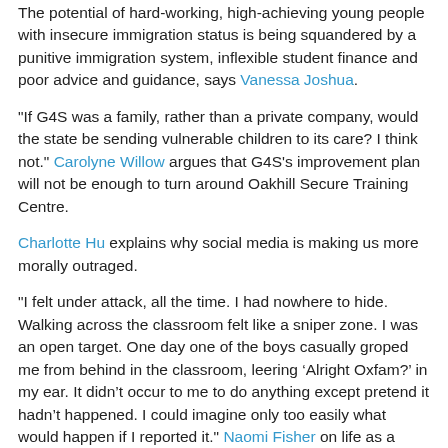The potential of hard-working, high-achieving young people with insecure immigration status is being squandered by a punitive immigration system, inflexible student finance and poor advice and guidance, says Vanessa Joshua.
"If G4S was a family, rather than a private company, would the state be sending vulnerable children to its care? I think not." Carolyne Willow argues that G4S's improvement plan will not be enough to turn around Oakhill Secure Training Centre.
Charlotte Hu explains why social media is making us more morally outraged.
"I felt under attack, all the time. I had nowhere to hide. Walking across the classroom felt like a sniper zone. I was an open target. One day one of the boys casually groped me from behind in the classroom, leering ‘Alright Oxfam?’ in my ear. It didn’t occur to me to do anything except pretend it hadn’t happened. I could imagine only too easily what would happen if I reported it." Naomi Fisher on life as a school refuser.